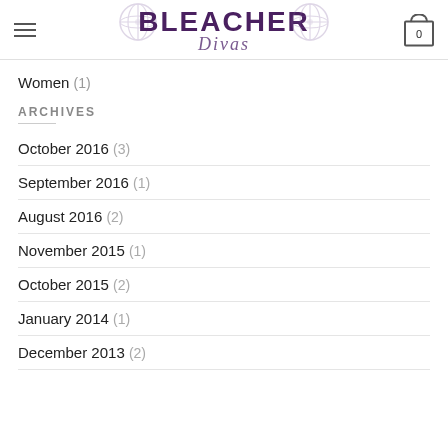Bleacher Divas
Women (1)
ARCHIVES
October 2016 (3)
September 2016 (1)
August 2016 (2)
November 2015 (1)
October 2015 (2)
January 2014 (1)
December 2013 (2)